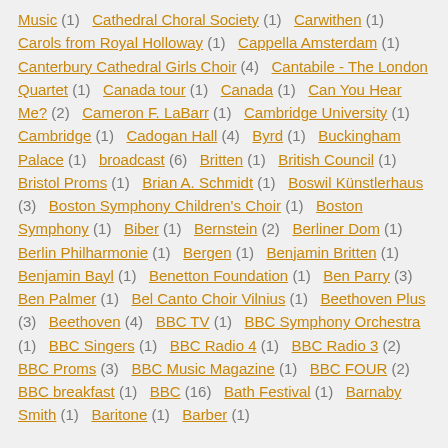Music (1) Cathedral Choral Society (1) Carwithen (1) Carols from Royal Holloway (1) Cappella Amsterdam (1) Canterbury Cathedral Girls Choir (4) Cantabile - The London Quartet (1) Canada tour (1) Canada (1) Can You Hear Me? (2) Cameron F. LaBarr (1) Cambridge University (1) Cambridge (1) Cadogan Hall (4) Byrd (1) Buckingham Palace (1) broadcast (6) Britten (1) British Council (1) Bristol Proms (1) Brian A. Schmidt (1) Boswil Künstlerhaus (3) Boston Symphony Children's Choir (1) Boston Symphony (1) Biber (1) Bernstein (2) Berliner Dom (1) Berlin Philharmonie (1) Bergen (1) Benjamin Britten (1) Benjamin Bayl (1) Benetton Foundation (1) Ben Parry (3) Ben Palmer (1) Bel Canto Choir Vilnius (1) Beethoven Plus (3) Beethoven (4) BBC TV (1) BBC Symphony Orchestra (1) BBC Singers (1) BBC Radio 4 (1) BBC Radio 3 (2) BBC Proms (3) BBC Music Magazine (1) BBC FOUR (2) BBC breakfast (1) BBC (16) Bath Festival (1) Barnaby Smith (1) Baritone (1) Barber (1)